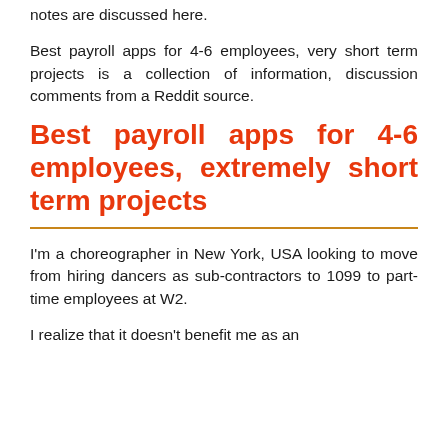notes are discussed here.
Best payroll apps for 4-6 employees, very short term projects is a collection of information, discussion comments from a Reddit source.
Best payroll apps for 4-6 employees, extremely short term projects
I'm a choreographer in New York, USA looking to move from hiring dancers as sub-contractors to 1099 to part-time employees at W2.
I realize that it doesn't benefit me as an